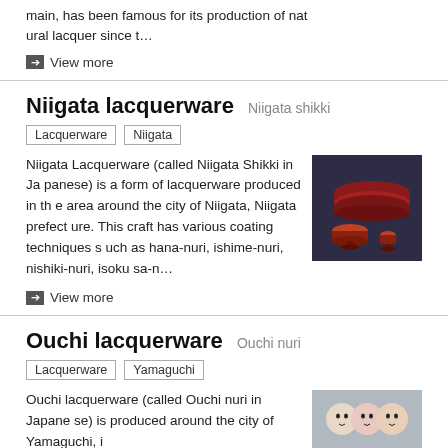main, has been famous for its production of natural lacquer since t…
→ View more
Niigata lacquerware  Niigata shikki
Lacquerware  Niigata
Niigata Lacquerware (called Niigata Shikki in Japanese) is a form of lacquerware produced in the area around the city of Niigata, Niigata prefecture. This craft has various coating techniques such as hana-nuri, ishime-nuri, nishiki-nuri, isokusa-n…
[Figure (photo): Photo of red/dark lacquerware bowls and cup on dark background]
→ View more
Ouchi lacquerware  Ouchi nuri
Lacquerware  Yamaguchi
Ouchi lacquerware (called Ouchi nuri in Japanese) is produced around the city of Yamaguchi, i
[Figure (photo): Photo of Ouchi lacquerware items on light background]